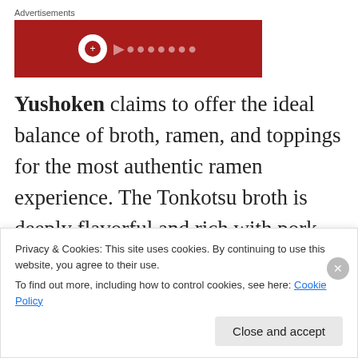[Figure (other): Red advertisement banner with circular logo and partial text]
Yushoken claims to offer the ideal balance of broth, ramen, and toppings for the most authentic ramen experience. The Tonkotsu broth is deeply flavorful and rich with pork bone marrow and collagen, distilled from hours and hours of boiling and simmering. And the noodles are
Privacy & Cookies: This site uses cookies. By continuing to use this website, you agree to their use.
To find out more, including how to control cookies, see here: Cookie Policy
Close and accept